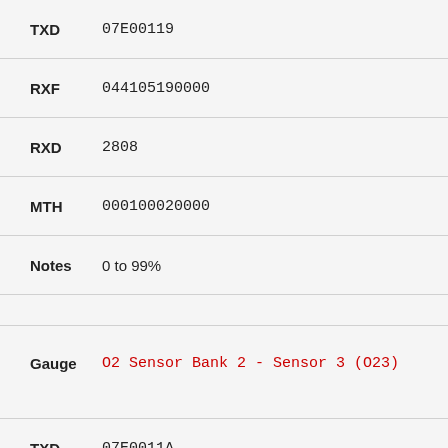TXD   07E00119
RXF   044105190000
RXD   2808
MTH   000100020000
Notes   0 to 99%
Gauge   O2 Sensor Bank 2 - Sensor 3 (O23)
TXD   07E0011A
RXF   0441051A0000
RXD   2808
MTH   000100020000